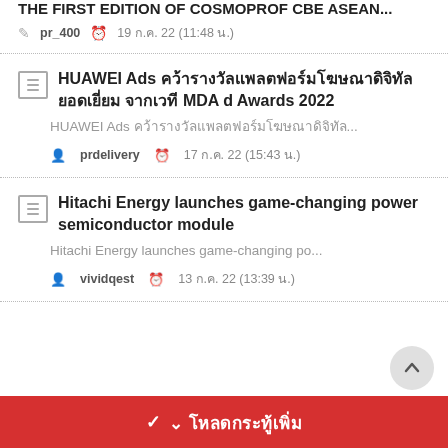THE FIRST EDITION OF COSMOPROF CBE ASEAN...
pr_400  19 ก.ค. 22 (11:48 น.)
HUAWEI Ads คว้ารางวัลแพลตฟอร์มโฆษณาดิจิทัลยอดเยี่ยม จากเวที MDA d Awards 2022
HUAWEI Ads คว้ารางวัลแพลตฟอร์มโฆษณาดิจิทัล...
prdelivery  17 ก.ค. 22 (15:43 น.)
Hitachi Energy launches game-changing power semiconductor module
Hitachi Energy launches game-changing po...
vividqest  13 ก.ค. 22 (13:39 น.)
โหลดกระทู้เพิ่ม